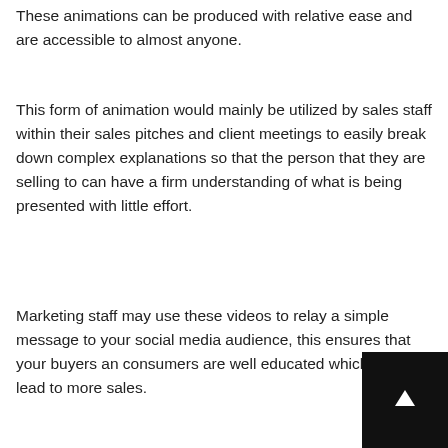These animations can be produced with relative ease and are accessible to almost anyone.
This form of animation would mainly be utilized by sales staff within their sales pitches and client meetings to easily break down complex explanations so that the person that they are selling to can have a firm understanding of what is being presented with little effort.
Marketing staff may use these videos to relay a simple message to your social media audience, this ensures that your buyers and consumers are well educated which could lead to more sales.